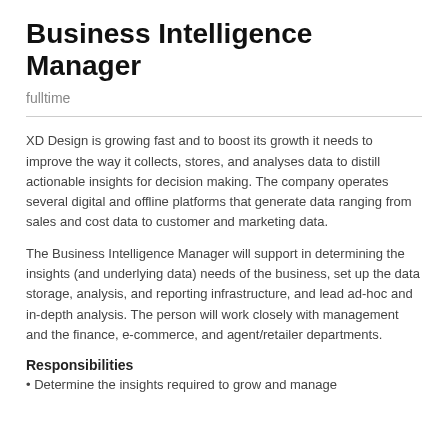Business Intelligence Manager
fulltime
XD Design is growing fast and to boost its growth it needs to improve the way it collects, stores, and analyses data to distill actionable insights for decision making. The company operates several digital and offline platforms that generate data ranging from sales and cost data to customer and marketing data.
The Business Intelligence Manager will support in determining the insights (and underlying data) needs of the business, set up the data storage, analysis, and reporting infrastructure, and lead ad-hoc and in-depth analysis. The person will work closely with management and the finance, e-commerce, and agent/retailer departments.
Responsibilities
Determine the insights required to grow and manage